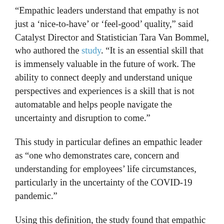“Empathic leaders understand that empathy is not just a ‘nice-to-have’ or ‘feel-good’ quality,” said Catalyst Director and Statistician Tara Van Bommel, who authored the study. “It is an essential skill that is immensely valuable in the future of work. The ability to connect deeply and understand unique perspectives and experiences is a skill that is not automatable and helps people navigate the uncertainty and disruption to come.”
This study in particular defines an empathic leader as “one who demonstrates care, concern and understanding for employees’ life circumstances, particularly in the uncertainty of the COVID-19 pandemic.”
Using this definition, the study found that empathic leaders were critical in helping employees adjust to shifting life-work obligations and cope with pandemic-